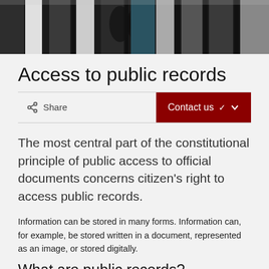[Figure (photo): Hero image showing close-up of colorful binder spines on a shelf, dark toned]
Access to public records
Share   Contact us
The most central part of the constitutional principle of public access to official documents concerns citizen's right to access public records.
Information can be stored in many forms. Information can, for example, be stored written in a document, represented as an image, or stored digitally.
What are public records?
Not all records at an authority are public. The information has to be stored by the authority, and it must have been sent or produced there to be classed as public. Preliminary